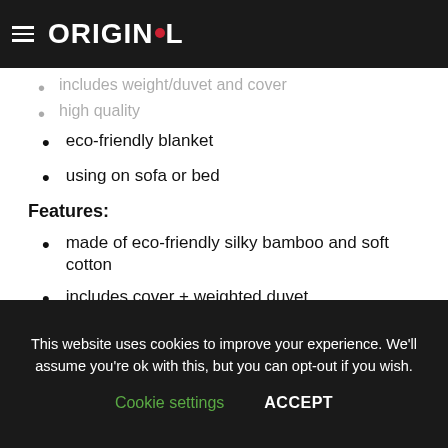ORIGINOL
includes weight/duvet and cover (faded)
high quality (faded)
eco-friendly blanket
using on sofa or bed
Features:
made of eco-friendly silky bamboo and soft cotton
includes cover + weighted duvet
double stitched extra strength thread
machine washable
BPA glass beads used for weight
best priced & best quality
This website uses cookies to improve your experience. We'll assume you're ok with this, but you can opt-out if you wish. Cookie settings  ACCEPT